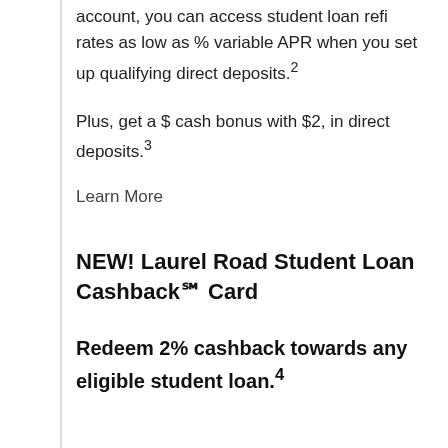account, you can access student loan refi rates as low as % variable APR when you set up qualifying direct deposits.²
Plus, get a $ cash bonus with $2, in direct deposits.³
Learn More
NEW! Laurel Road Student Loan Cashback℠ Card
Redeem 2% cashback towards any eligible student loan.⁴